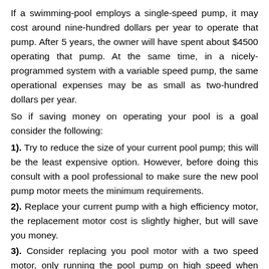If a swimming-pool employs a single-speed pump, it may cost around nine-hundred dollars per year to operate that pump. After 5 years, the owner will have spent about $4500 operating that pump. At the same time, in a nicely-programmed system with a variable speed pump, the same operational expenses may be as small as two-hundred dollars per year.
So if saving money on operating your pool is a goal consider the following:
1). Try to reduce the size of your current pool pump; this will be the least expensive option. However, before doing this consult with a pool professional to make sure the new pool pump motor meets the minimum requirements.
2). Replace your current pump with a high efficiency motor, the replacement motor cost is slightly higher, but will save you money.
3). Consider replacing you pool motor with a two speed motor, only running the pool pump on high speed when running an automatic pool cleaner or manually vacuuming